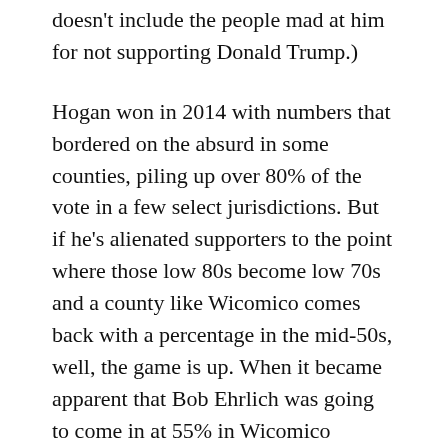doesn't include the people mad at him for not supporting Donald Trump.)
Hogan won in 2014 with numbers that bordered on the absurd in some counties, piling up over 80% of the vote in a few select jurisdictions. But if he's alienated supporters to the point where those low 80s become low 70s and a county like Wicomico comes back with a percentage in the mid-50s, well, the game is up. When it became apparent that Bob Ehrlich was going to come in at 55% in Wicomico County I knew he was toast, and the same goes for Hogan. That, in turn, will make it tough on downballot races, too.